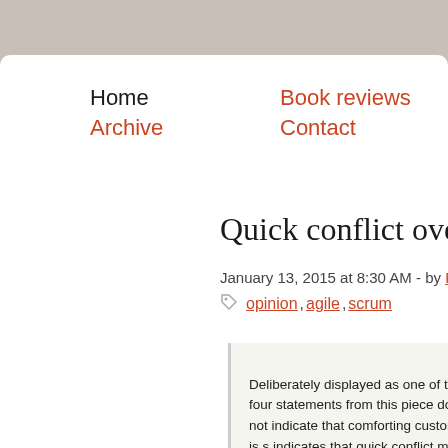Home  Book reviews  Archive  Contact
Quick conflict over comforting
January 13, 2015 at 8:30 AM - by Freek Lijten - 0
opinion, agile, scrum
Deliberately displayed as one of the four statements from this piece does not indicate that comforting customers is s indicates that quick conflict might be more important. Wha this in mind.